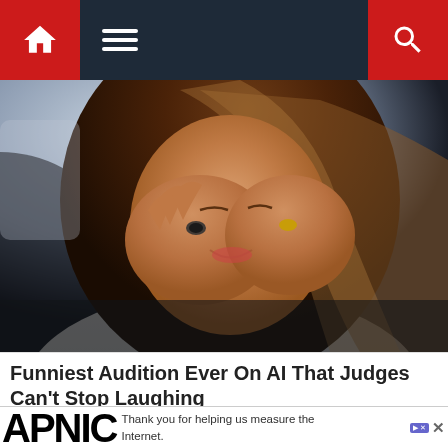Navigation bar with home icon, menu icon, and search icon
[Figure (photo): Woman with long dark brown highlighted hair, covering her face with both hands while laughing, wearing rings, against a blurred blue-grey background]
Funniest Audition Ever On AI That Judges Can't Stop Laughing
Brainberries
[Figure (photo): Partial view of another article card showing people, partially visible at bottom]
Thank you for helping us measure the Internet.